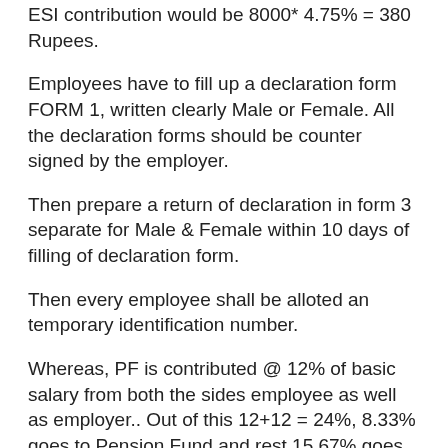ESI contribution would be 8000 * 4.75% = 380 Rupees.
Employees have to fill up a declaration form FORM 1, written clearly Male or Female. All the declaration forms should be counter signed by the employer.
Then prepare a return of declaration in form 3 separate for Male & Female within 10 days of filling of declaration form.
Then every employee shall be alloted an temporary identification number.
Whereas, PF is contributed @ 12% of basic salary from both the sides employee as well as employer.. Out of this 12+12 = 24%, 8.33% goes to Pension Fund and rest 15.67% goes to Provident Fund.